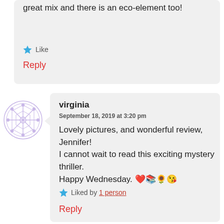great mix and there is an eco-element too!
Like
Reply
[Figure (illustration): Circular decorative avatar icon with purple/lavender geometric snowflake-like pattern]
virginia
September 18, 2019 at 3:20 pm
Lovely pictures, and wonderful review, Jennifer!
I cannot wait to read this exciting mystery thriller.
Happy Wednesday. ❤️📚🌻😘
Liked by 1 person
Reply